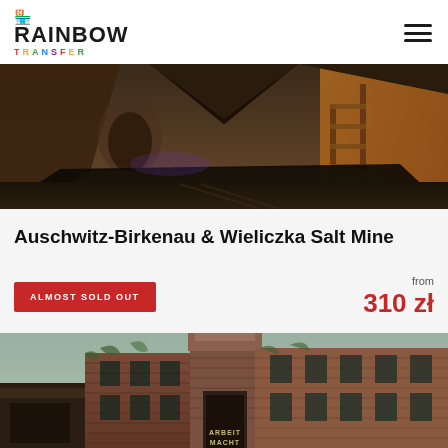RAINBOW TRANSFER
[Figure (photo): Interior of Wieliczka Salt Mine showing caverns carved from salt rock with reflective underground lake and wooden structures, dramatic lighting]
Auschwitz-Birkenau & Wieliczka Salt Mine
ALMOST SOLD OUT — from 310 zł
[Figure (photo): Entrance gate of Auschwitz concentration camp with 'Arbeit Macht Frei' inscription on iron gate, red brick buildings visible in background]